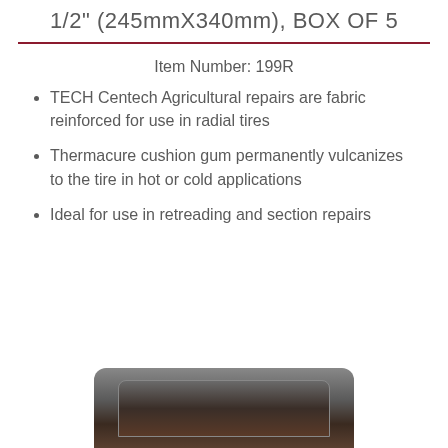1/2" (245mmX340mm), BOX OF 5
Item Number: 199R
TECH Centech Agricultural repairs are fabric reinforced for use in radial tires
Thermacure cushion gum permanently vulcanizes to the tire in hot or cold applications
Ideal for use in retreading and section repairs
[Figure (photo): Product photo of a dark-colored box/tin at the bottom of the page]